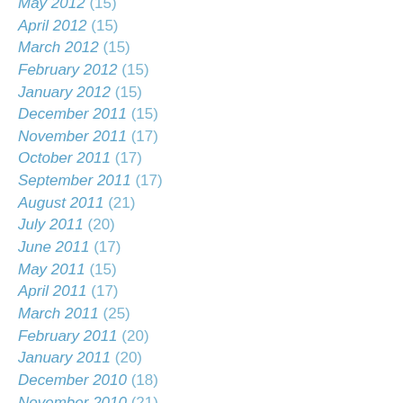May 2012 (15)
April 2012 (15)
March 2012 (15)
February 2012 (15)
January 2012 (15)
December 2011 (15)
November 2011 (17)
October 2011 (17)
September 2011 (17)
August 2011 (21)
July 2011 (20)
June 2011 (17)
May 2011 (15)
April 2011 (17)
March 2011 (25)
February 2011 (20)
January 2011 (20)
December 2010 (18)
November 2010 (21)
October 2010 (21)